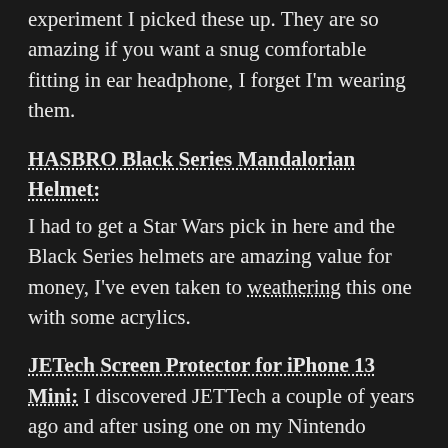experiment I picked these up. They are so amazing if you want a snug comfortable fitting in ear headphone, I forget I'm wearing them.
HASBRO Black Series Mandalorian Helmet:
I had to get a Star Wars pick in here and the Black Series helmets are amazing value for money, I've even taken to weathering this one with some acrylics.
JETech Screen Protector for iPhone 13 Mini:
I discovered JETTech a couple of years ago and after using one on my Nintendo Switch I tried it on the iPhone 11 and then the iPhone 13 Mini. They are cheap and seem to hold up